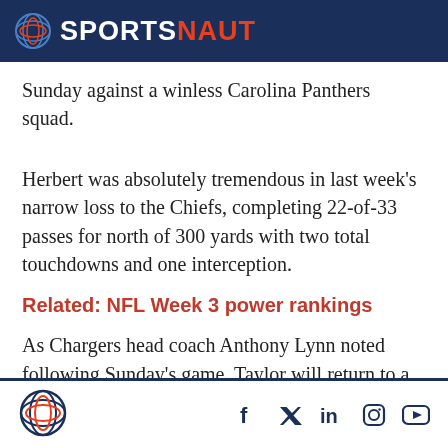SPORTSNAUT
Sunday against a winless Carolina Panthers squad.
Herbert was absolutely tremendous in last week's narrow loss to the Chiefs, completing 22-of-33 passes for north of 300 yards with two total touchdowns and one interception.
Related: NFL Week 3 power rankings
As Chargers head coach Anthony Lynn noted following Sunday's game, Taylor will return to a starting role once he's able to return from this most
SPORTSNAUT — social icons: Facebook, Twitter, LinkedIn, Instagram, YouTube